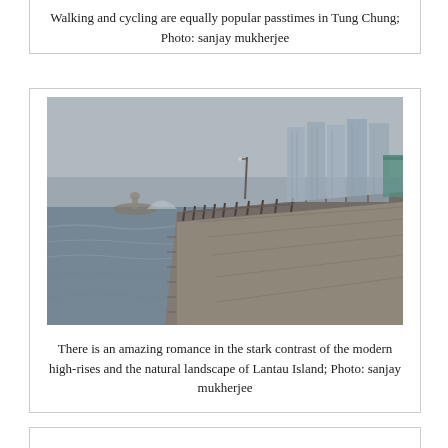Walking and cycling are equally popular passtimes in Tung Chung; Photo: sanjay mukherjee
[Figure (photo): A waterfront promenade in Tung Chung with a stone sea wall stretching into the distance. Grey misty sky above. Modern high-rise residential towers visible in the background on the right. Water on the left side. A ferry terminal structure and small islet visible in the middle distance.]
There is an amazing romance in the stark contrast of the modern high-rises and the natural landscape of Lantau Island; Photo: sanjay mukherjee